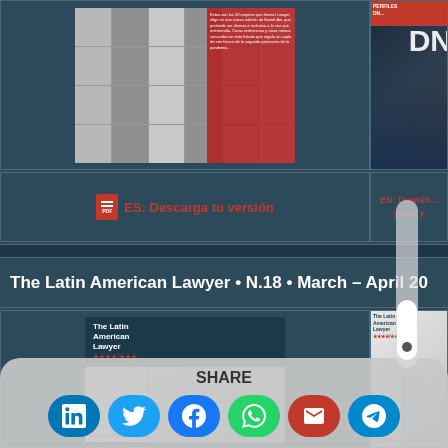[Figure (photo): Magazine cover grid showing multiple women's photos with red overlay text in Spanish]
[Figure (photo): Partial magazine cover on right side with red header and large text]
ES: Descarga tu versión
EN: Download your copy
The Latin American Lawyer • N.18 • March – April 20...
[Figure (photo): The Latin American Lawyer magazine cover with woman photo]
[Figure (photo): Partial right-side magazine cover]
SHARE
[Figure (infographic): Social media share buttons: LinkedIn, Twitter, Facebook, WhatsApp, Email, Telegram]